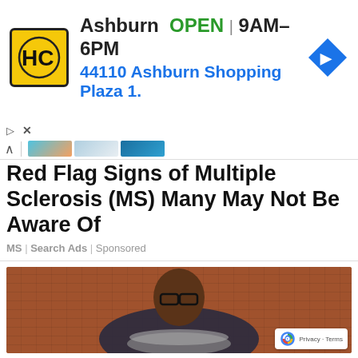[Figure (infographic): HC (Home Chef or similar) advertisement banner. Yellow square logo with HC monogram, text: Ashburn OPEN 9AM–6PM, 44110 Ashburn Shopping Plaza 1. Blue navigation arrow icon on right. Play and X controls at bottom left.]
[Figure (photo): Thumbnail strip showing partial images in blue/teal/orange tones]
Red Flag Signs of Multiple Sclerosis (MS) Many May Not Be Aware Of
MS | Search Ads | Sponsored
[Figure (photo): A man with glasses, bald head, wearing a dark polka-dot shirt, holding a large metal pot filled with lemon slices over a kitchen counter. Brick wall background. reCAPTCHA badge with Privacy - Terms visible in lower right corner.]